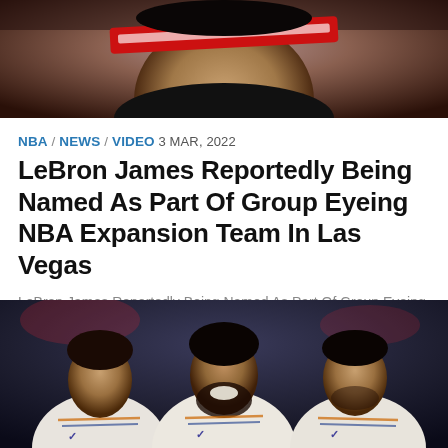[Figure (photo): Close-up photo of LeBron James wearing a red headband, dark background]
NBA / NEWS / VIDEO  3 MAR, 2022
LeBron James Reportedly Being Named As Part Of Group Eyeing NBA Expansion Team In Las Vegas
LeBron James Reportedly Being Named As Part Of Group Eyeing NBA Expansion Team In Las Vegas  Earlier this week, we reported that Bill Simmons believes that the NBA will expand to 32 teams,...
[Figure (photo): Photo of three NBA players in white jerseys (Nets uniforms) smiling, standing together — Zion Williamson, Kyrie Irving, Kevin Durant]